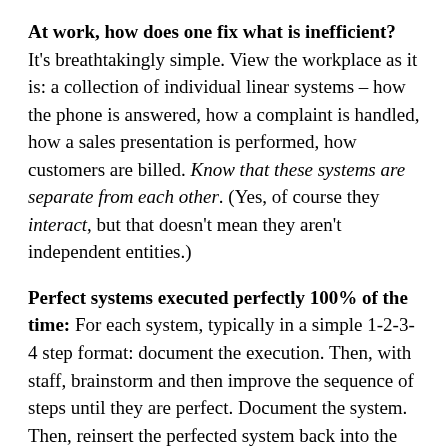At work, how does one fix what is inefficient? It's breathtakingly simple. View the workplace as it is: a collection of individual linear systems – how the phone is answered, how a complaint is handled, how a sales presentation is performed, how customers are billed. Know that these systems are separate from each other. (Yes, of course they interact, but that doesn't mean they aren't independent entities.)
Perfect systems executed perfectly 100% of the time: For each system, typically in a simple 1-2-3-4 step format: document the execution. Then, with staff, brainstorm and then improve the sequence of steps until they are perfect. Document the system. Then, reinsert the perfected system back into the operation. As a matter of policy, everyone in the organization will execute each perfected system in exactly the same sequence every single time – yet everyone understands that if a system can be improved, the adjustment will be